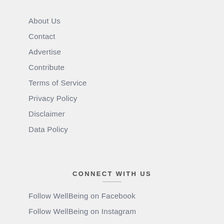About Us
Contact
Advertise
Contribute
Terms of Service
Privacy Policy
Disclaimer
Data Policy
CONNECT WITH US
Follow WellBeing on Facebook
Follow WellBeing on Instagram